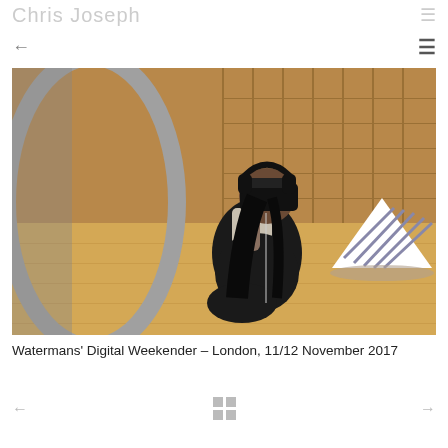Chris Joseph
[Figure (photo): A woman crouching on a wooden floor wearing a VR headset and headphones, in a large hall with wooden panels. A striped fabric sculpture is visible in the background on the right.]
Watermans' Digital Weekender – London, 11/12 November 2017